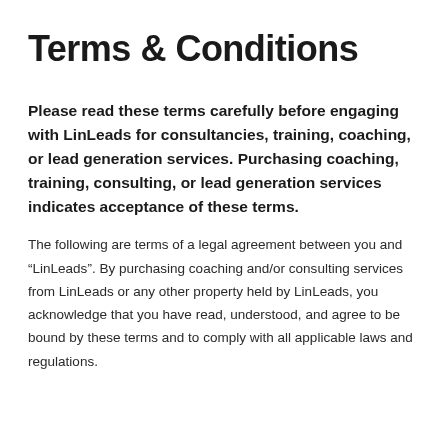Terms & Conditions
Please read these terms carefully before engaging with LinLeads for consultancies, training, coaching, or lead generation services. Purchasing coaching, training, consulting, or lead generation services indicates acceptance of these terms.
The following are terms of a legal agreement between you and “LinLeads”. By purchasing coaching and/or consulting services from LinLeads or any other property held by LinLeads, you acknowledge that you have read, understood, and agree to be bound by these terms and to comply with all applicable laws and regulations.